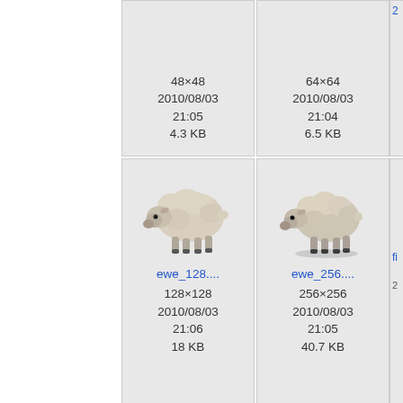[Figure (screenshot): File browser / icon gallery showing animal icon files. Top partial row shows two cells with metadata: 48x48 / 2010/08/03 21:05 / 4.3 KB and 64x64 / 2010/08/03 21:04 / 6.5 KB. Middle row shows ewe_128 (128x128, 2010/08/03 21:06, 18 KB) and ewe_256 (256x256, 2010/08/03 21:05, 40.7 KB) icons. Bottom row shows finch_24 (24x24) and finch_32 (32x32) with broken image placeholder for finch_32.png.]